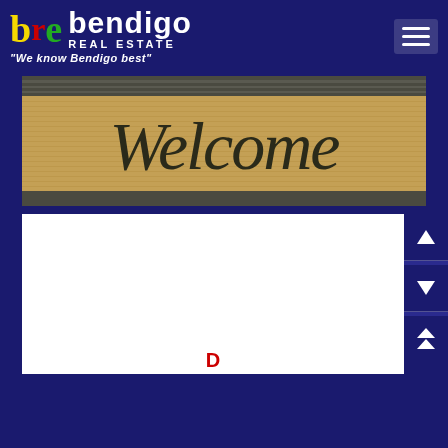bre bendigo REAL ESTATE "We know Bendigo best"
[Figure (photo): Photo of a coir welcome mat with decorative black border and cursive 'Welcome' text in dark lettering on a tan/brown textured surface]
[Figure (other): White content box with side navigation buttons (up arrow, down arrow, double up arrow) in dark blue on the right side, and a partial red heading at the bottom]